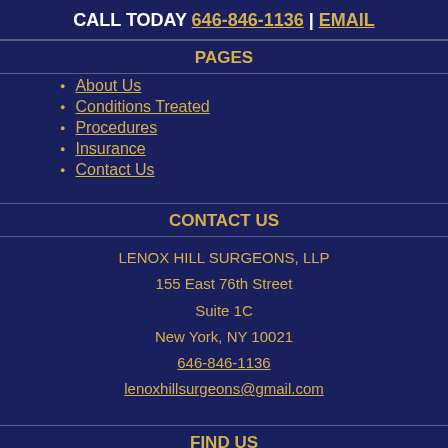CALL TODAY 646-846-1136 | EMAIL
PAGES
About Us
Conditions Treated
Procedures
Insurance
Contact Us
CONTACT US
LENOX HILL SURGEONS, LLP
155 East 76th Street
Suite 1C
New York, NY 10021
646-846-1136
lenoxhillsurgeons@gmail.com
FIND US
[Figure (map): Partial map strip showing location of Lenox Hill Surgeons]